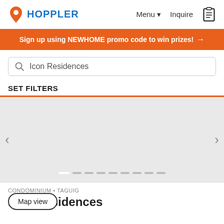[Figure (logo): Hoppler logo with orange map pin icon and blue text HOPPLER]
Menu ▼   Inquire
Sign up using NEWHOME promo code to win prizes! →
Icon Residences
SET FILTERS
[Figure (photo): Gray placeholder image carousel with left and right navigation arrows and pagination dots]
CONDOMINIUM • TAGUIG
Icon Residences
Map view